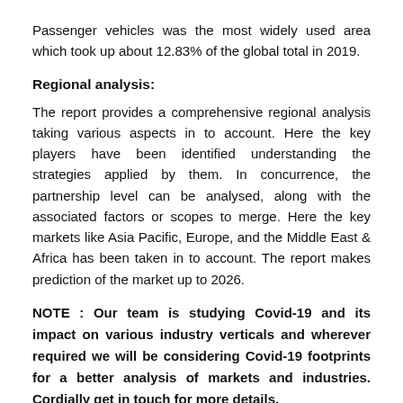Passenger vehicles was the most widely used area which took up about 12.83% of the global total in 2019.
Regional analysis:
The report provides a comprehensive regional analysis taking various aspects in to account. Here the key players have been identified understanding the strategies applied by them. In concurrence, the partnership level can be analysed, along with the associated factors or scopes to merge. Here the key markets like Asia Pacific, Europe, and the Middle East & Africa has been taken in to account. The report makes prediction of the market up to 2026.
NOTE : Our team is studying Covid-19 and its impact on various industry verticals and wherever required we will be considering Covid-19 footprints for a better analysis of markets and industries. Cordially get in touch for more details.